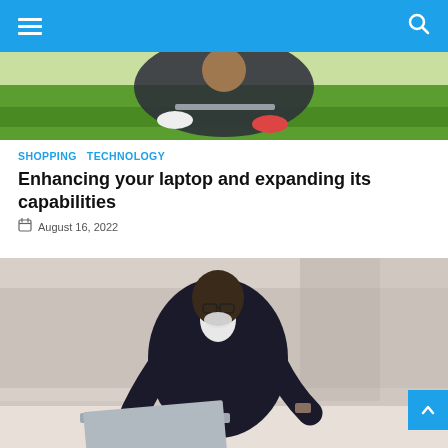Navigation header with hamburger menu and search icon
[Figure (photo): Person sitting cross-legged on grass using a laptop, viewed from behind/side angle]
SHOPPING   TECHNOLOGY
Enhancing your laptop and expanding its capabilities
August 16, 2022
[Figure (photo): Bald Black man with glasses and white beard wearing dark suit, sitting outdoors on a ledge using a laptop computer]